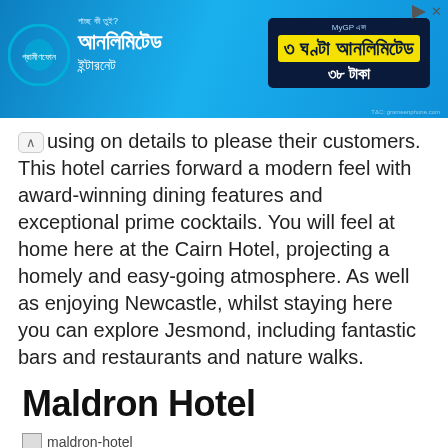[Figure (screenshot): Blue advertisement banner in Bengali script for a Grameenphone-style mobile operator. Shows Bengali text for 'Unlimited Internet' offer with '৩ ঘণ্টা আনলিমিটেড' (3 hours unlimited) highlighted in yellow and '৩৮ টাকা' (38 taka) in white. Close/ad buttons at top right.]
using on details to please their customers. This hotel carries forward a modern feel with award-winning dining features and exceptional prime cocktails. You will feel at home here at the Cairn Hotel, projecting a homely and easy-going atmosphere. As well as enjoying Newcastle, whilst staying here you can explore Jesmond, including fantastic bars and restaurants and nature walks.
Maldron Hotel
[Figure (photo): Broken image placeholder labeled 'maldron-hotel']